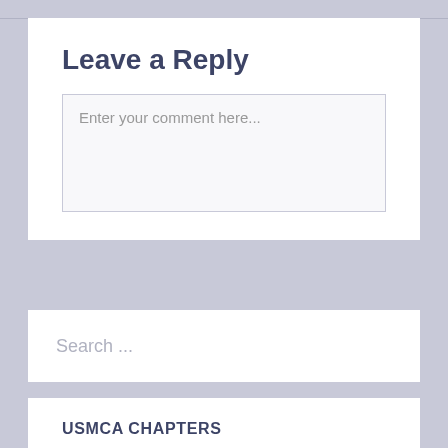Leave a Reply
Enter your comment here...
Search ...
USMCA CHAPTERS
Sections of the USMCA